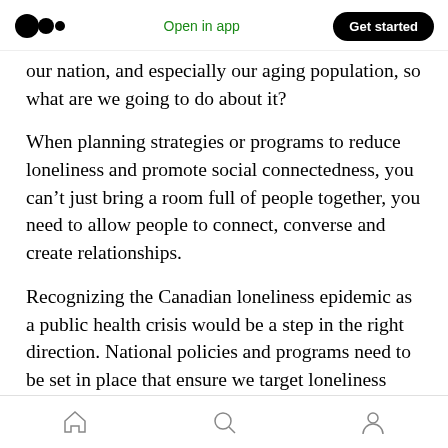Medium logo | Open in app | Get started
our nation, and especially our aging population, so what are we going to do about it?
When planning strategies or programs to reduce loneliness and promote social connectedness, you can't just bring a room full of people together, you need to allow people to connect, converse and create relationships.
Recognizing the Canadian loneliness epidemic as a public health crisis would be a step in the right direction. National policies and programs need to be set in place that ensure we target loneliness
Home | Search | Profile